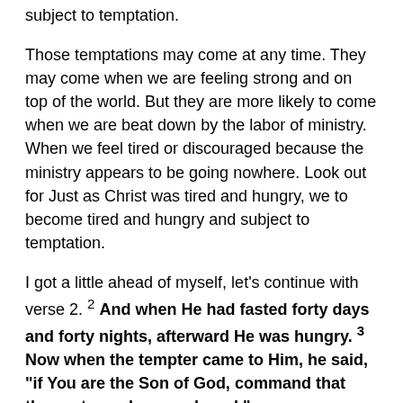subject to temptation.
Those temptations may come at any time. They may come when we are feeling strong and on top of the world. But they are more likely to come when we are beat down by the labor of ministry. When we feel tired or discouraged because the ministry appears to be going nowhere. Look out for Just as Christ was tired and hungry, we to become tired and hungry and subject to temptation.
I got a little ahead of myself, let's continue with verse 2. 2 And when He had fasted forty days and forty nights, afterward He was hungry. 3 Now when the tempter came to Him, he said, "if You are the Son of God, command that these stones become bread."
Did Christ have the power to accomplish such a miracle?